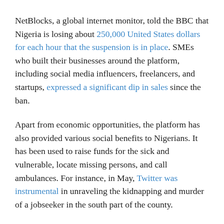NetBlocks, a global internet monitor, told the BBC that Nigeria is losing about 250,000 United States dollars for each hour that the suspension is in place. SMEs who built their businesses around the platform, including social media influencers, freelancers, and startups, expressed a significant dip in sales since the ban.
Apart from economic opportunities, the platform has also provided various social benefits to Nigerians. It has been used to raise funds for the sick and vulnerable, locate missing persons, and call ambulances. For instance, in May, Twitter was instrumental in unraveling the kidnapping and murder of a jobseeker in the south part of the county.
Twitter's support for the #EndSARS protests
Though the deleted tweet has been at the centre of the